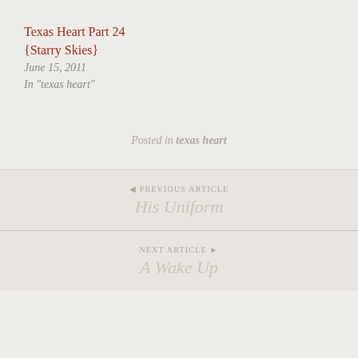Texas Heart Part 24
{Starry Skies}
June 15, 2011
In "texas heart"
Posted in texas heart
◄ PREVIOUS ARTICLE
His Uniform
NEXT ARTICLE ►
A Wake Up